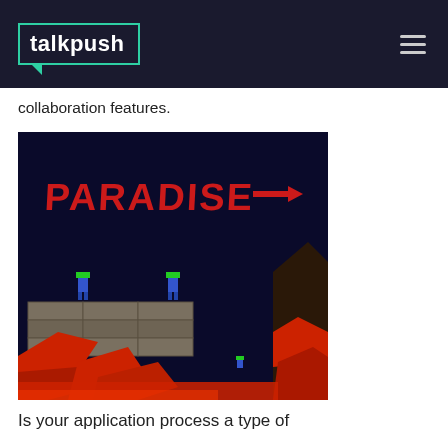talkpush
collaboration features.
[Figure (screenshot): Retro pixel-art video game screenshot showing two small characters with green hair standing on stone blocks, with the word PARADISE and an arrow in large red letters against a dark blue background, and red lava/terrain at the bottom.]
Is your application process a type of